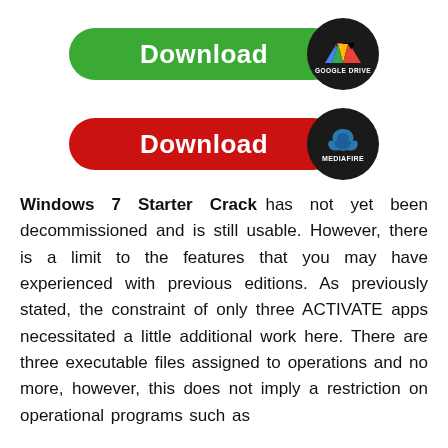[Figure (other): Green Download button with Google Drive logo circle on the right]
[Figure (other): Red Download button with MediaFire logo circle on the right]
Windows 7 Starter Crack has not yet been decommissioned and is still usable. However, there is a limit to the features that you may have experienced with previous editions. As previously stated, the constraint of only three ACTIVATE apps necessitated a little additional work here. There are three executable files assigned to operations and no more, however, this does not imply a restriction on operational programs such as